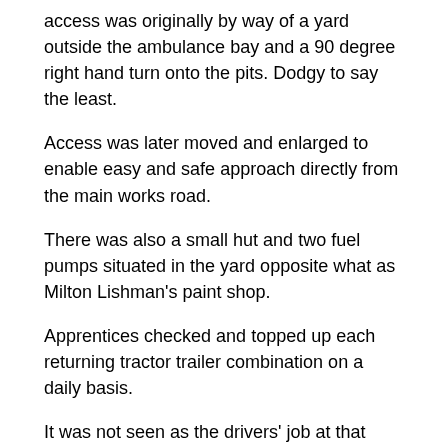access was originally by way of a yard outside the ambulance bay and a 90 degree right hand turn onto the pits. Dodgy to say the least.
Access was later moved and enlarged to enable easy and safe approach directly from the main works road.
There was also a small hut and two fuel pumps situated in the yard opposite what as Milton Lishman’s paint shop.
Apprentices checked and topped up each returning tractor trailer combination on a daily basis.
It was not seen as the drivers’ job at that time. As a unit we serviced and repaired a large fleet of vehicles, plant and mobile equipment used throughout the plant and even on the melting shop stage. 16 tractors